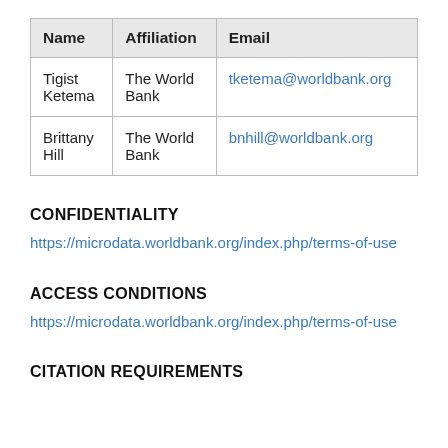| Name | Affiliation | Email |
| --- | --- | --- |
| Tigist Ketema | The World Bank | tketema@worldbank.org |
| Brittany Hill | The World Bank | bnhill@worldbank.org |
CONFIDENTIALITY
https://microdata.worldbank.org/index.php/terms-of-use
ACCESS CONDITIONS
https://microdata.worldbank.org/index.php/terms-of-use
CITATION REQUIREMENTS